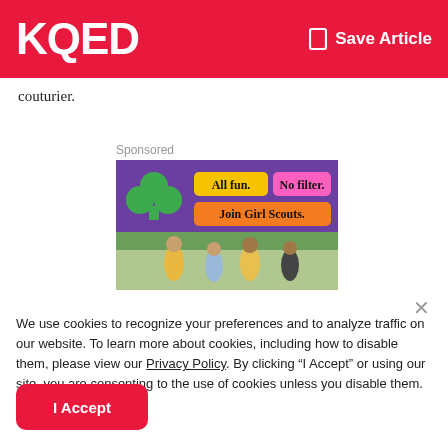KQED  Save Article
couturier.
Sponsored
[Figure (illustration): Girl Scouts advertisement: purple background with green trefoil logo, yellow button 'All fun.', pink button 'No filter.', orange button 'Join Girl Scouts.', and photo of children running outdoors.]
We use cookies to recognize your preferences and to analyze traffic on our website. To learn more about cookies, including how to disable them, please view our Privacy Policy. By clicking “I Accept” or using our site, you are consenting to the use of cookies unless you disable them.
I Accept